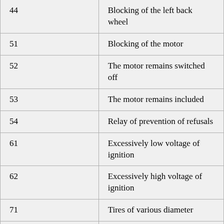| Code | Description |
| --- | --- |
| 44 | Blocking of the left back wheel |
| 51 | Blocking of the motor |
| 52 | The motor remains switched off |
| 53 | The motor remains included |
| 54 | Relay of prevention of refusals |
| 61 | Excessively low voltage of ignition |
| 62 | Excessively high voltage of ignition |
| 71 | Tires of various diameter |
| 81 | Diagnostics of blocks of the central processing unit and ROM/RAM |